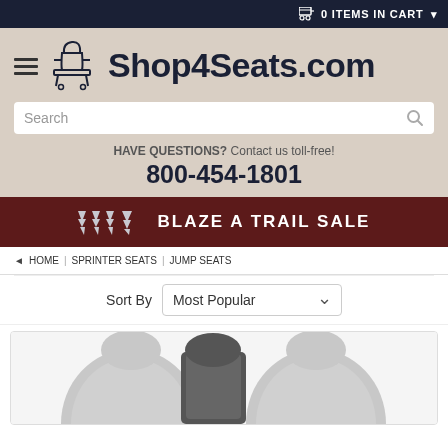0 ITEMS IN CART
[Figure (logo): Shop4Seats.com logo with cart/chair icon and hamburger menu]
Search
HAVE QUESTIONS? Contact us toll-free!
800-454-1801
🌲🌲🌲🌲 BLAZE A TRAIL SALE
HOME | SPRINTER SEATS | JUMP SEATS
Sort By  Most Popular
[Figure (photo): Car seats product image showing gray and dark seat backs]